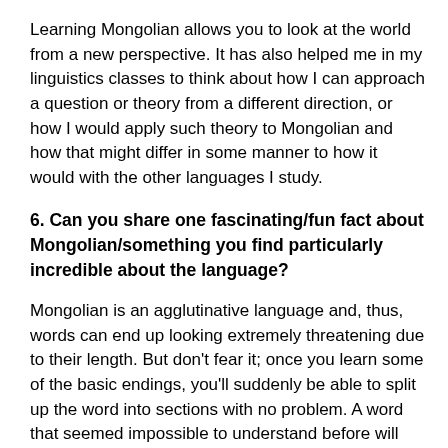Learning Mongolian allows you to look at the world from a new perspective. It has also helped me in my linguistics classes to think about how I can approach a question or theory from a different direction, or how I would apply such theory to Mongolian and how that might differ in some manner to how it would with the other languages I study.
6. Can you share one fascinating/fun fact about Mongolian/something you find particularly incredible about the language?
Mongolian is an agglutinative language and, thus, words can end up looking extremely threatening due to their length. But don't fear it; once you learn some of the basic endings, you'll suddenly be able to split up the word into sections with no problem. A word that seemed impossible to understand before will later become very clear, and you can impress your friends by knowing what seem like very